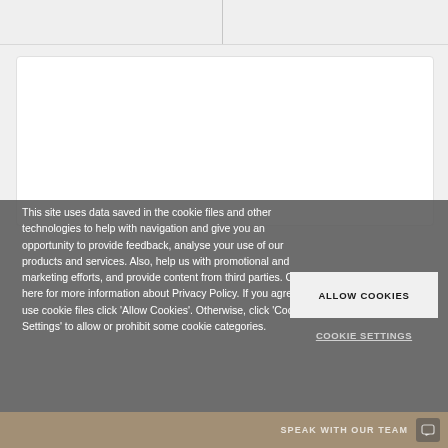[Figure (screenshot): Top navigation bar area with a vertical divider line in the center, light gray background]
[Figure (screenshot): White content card with rounded corners and border, partially visible]
This site uses data saved in the cookie files and other technologies to help with navigation and give you an opportunity to provide feedback, analyse your use of our products and services. Also, help us with promotional and marketing efforts, and provide content from third parties. Click here for more information about Privacy Policy. If you agree to use cookie files click 'Allow Cookies'. Otherwise, click 'Cookie Settings' to allow or prohibit some cookie categories.
ALLOW COOKIES
COOKIE SETTINGS
SPEAK WITH OUR TEAM